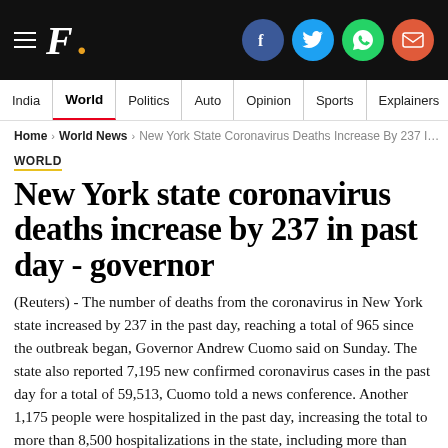F. [Firstpost logo with social icons: Facebook, Twitter, WhatsApp, Email]
India | World | Politics | Auto | Opinion | Sports | Explainers
Home > World News > New York State Coronavirus Deaths Increase By 237 I…
WORLD
New York state coronavirus deaths increase by 237 in past day - governor
(Reuters) - The number of deaths from the coronavirus in New York state increased by 237 in the past day, reaching a total of 965 since the outbreak began, Governor Andrew Cuomo said on Sunday. The state also reported 7,195 new confirmed coronavirus cases in the past day for a total of 59,513, Cuomo told a news conference. Another 1,175 people were hospitalized in the past day, increasing the total to more than 8,500 hospitalizations in the state, including more than 2,000 in